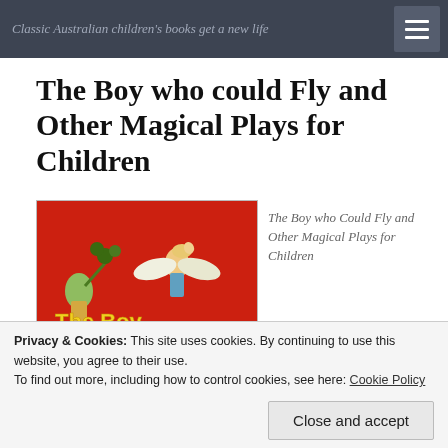Classic Australian children's books get a new life
The Boy who could Fly and Other Magical Plays for Children
[Figure (illustration): Book cover with red background showing illustrated characters including a boy with wings flying and a girl with plants, with yellow text reading 'The Boy who']
The Boy who Could Fly and Other Magical Plays for Children
Privacy & Cookies: This site uses cookies. By continuing to use this website, you agree to their use.
To find out more, including how to control cookies, see here: Cookie Policy
Close and accept